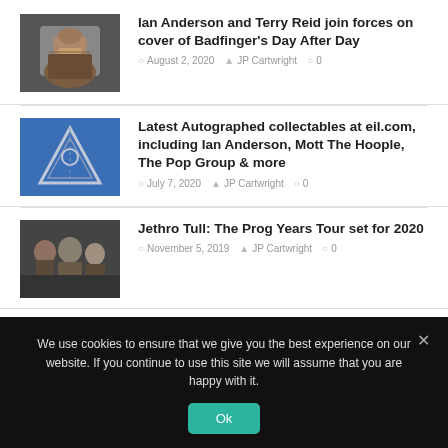[Figure (photo): Thumbnail photo of Ian Anderson, older man with beard]
Ian Anderson and Terry Reid join forces on cover of Badfinger's Day After Day
August 2, 2020  JP Cartwright  0
[Figure (illustration): Blue album art thumbnail with triangle/pyramid logo]
Latest Autographed collectables at eil.com, including Ian Anderson, Mott The Hoople, The Pop Group & more
July 7, 2020  JP Cartwright  0
[Figure (photo): Thumbnail photo of Jethro Tull band members]
Jethro Tull: The Prog Years Tour set for 2020
November 5, 2019  JP Cartwright  0
We use cookies to ensure that we give you the best experience on our website. If you continue to use this site we will assume that you are happy with it.